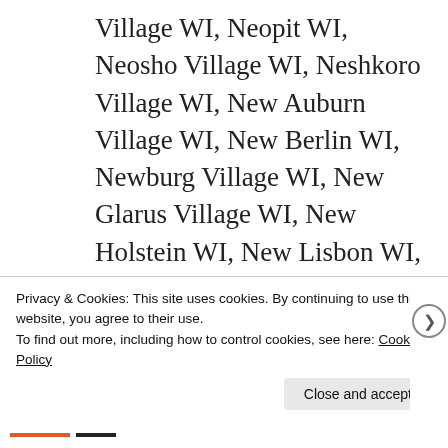Village WI, Neopit WI, Neosho Village WI, Neshkoro Village WI, New Auburn Village WI, New Berlin WI, Newburg Village WI, New Glarus Village WI, New Holstein WI, New Lisbon WI, New London WI, New Post WI, New Richmond WI, Niagara WI, Nichols Village WI, North Bay Village WI, North Fond du Lac
Privacy & Cookies: This site uses cookies. By continuing to use this website, you agree to their use.
To find out more, including how to control cookies, see here: Cookie Policy